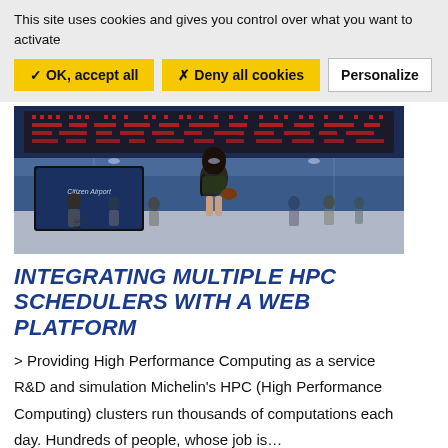This site uses cookies and gives you control over what you want to activate
✓ OK, accept all   ✗ Deny all cookies   Personalize
[Figure (photo): Woman with backpack standing in an airport terminal looking at departure boards, crowd of travelers in background]
INTEGRATING MULTIPLE HPC SCHEDULERS WITH A WEB PLATFORM
> Providing High Performance Computing as a service R&D and simulation Michelin's HPC (High Performance Computing) clusters run thousands of computations each day. Hundreds of people, whose job is...